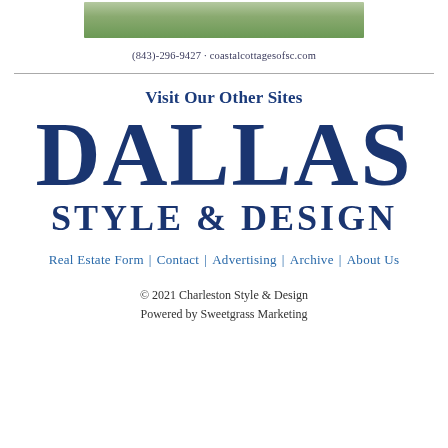[Figure (photo): Top portion of a coastal cottages advertisement showing a house photo]
(843)-296-9427 · coastalcottagesofsc.com
Visit Our Other Sites
[Figure (logo): Dallas Style & Design logo in large dark blue serif text]
Real Estate Form   Contact   Advertising   Archive   About Us
© 2021 Charleston Style & Design
Powered by Sweetgrass Marketing